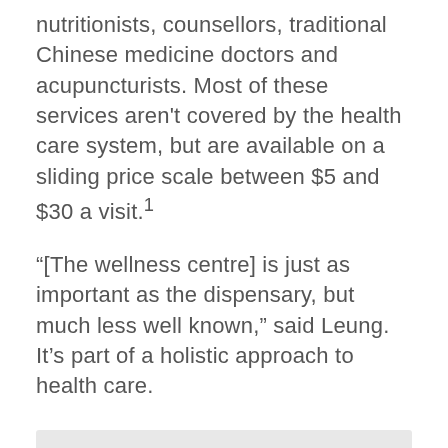nutritionists, counsellors, traditional Chinese medicine doctors and acupuncturists. Most of these services aren't covered by the health care system, but are available on a sliding price scale between $5 and $30 a visit.1
“[The wellness centre] is just as important as the dispensary, but much less well known,” said Leung. It’s part of a holistic approach to health care.
* pseudonym